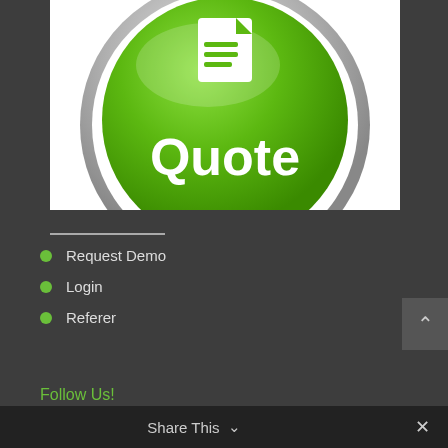[Figure (illustration): Green glossy circular button with a document/quote icon at top and the word 'Quote' in white bold text, with metallic silver border, on white background]
Request Demo
Login
Referer
Share This
Follow Us!